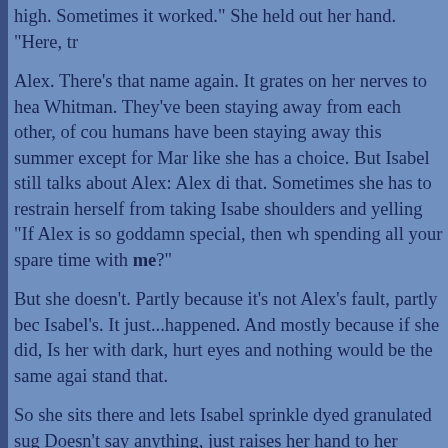high. Sometimes it worked." She held out her hand. "Here, tr
Alex. There's that name again. It grates on her nerves to hea Whitman. They've been staying away from each other, of cou humans have been staying away this summer except for Mar like she has a choice. But Isabel still talks about Alex: Alex di that. Sometimes she has to restrain herself from taking Isabe shoulders and yelling "If Alex is so goddamn special, then wh spending all your spare time with me?"
But she doesn't. Partly because it's not Alex's fault, partly bec Isabel's. It just...happened. And mostly because if she did, Is her with dark, hurt eyes and nothing would be the same agai stand that.
So she sits there and lets Isabel sprinkle dyed granulated sug Doesn't say anything, just raises her hand to her mouth and s tongue, letting a few grains touch it.
It tastes...different, somehow, than plain white sugar. Sweete Like the woman who had given it to her, sitting a few feet awa sweater that used to be Max's and brand-new leather pants,
"Not bad," Tess says finally, shifting her hand to sprinkle the n Triple Caramel Chunk. It sinks into the cream slowly, making pinnpricks in the orangey-red of the Tabasco. She stirs it an